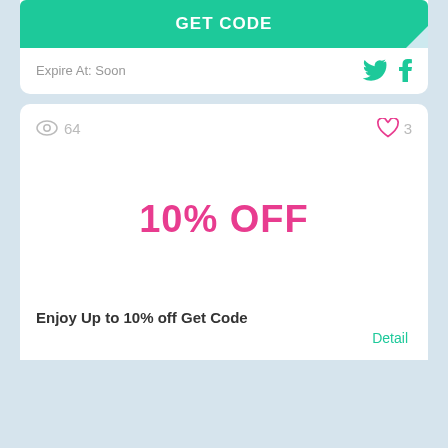GET CODE
Expire At: Soon
64
3
10% OFF
Enjoy Up to 10% off Get Code
Detail